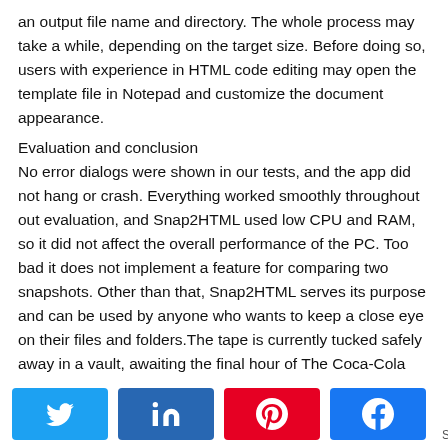an output file name and directory. The whole process may take a while, depending on the target size. Before doing so, users with experience in HTML code editing may open the template file in Notepad and customize the document appearance.
Evaluation and conclusion
No error dialogs were shown in our tests, and the app did not hang or crash. Everything worked smoothly throughout out evaluation, and Snap2HTML used low CPU and RAM, so it did not affect the overall performance of the PC. Too bad it does not implement a feature for comparing two snapshots. Other than that, Snap2HTML serves its purpose and can be used by anyone who wants to keep a close eye on their files and folders.The tape is currently tucked safely away in a vault, awaiting the final hour of The Coca-Cola Hour. But nobody's using that last hour. The show's off-the-air, and with it, goes a